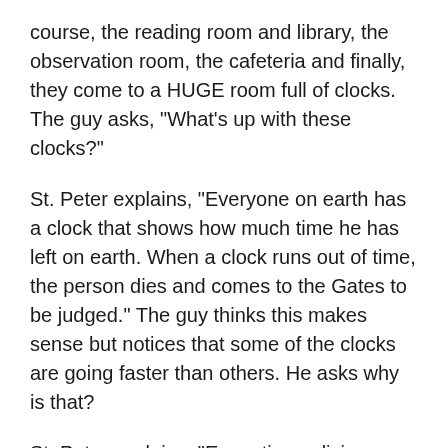course, the reading room and library, the observation room, the cafeteria and finally, they come to a HUGE room full of clocks. The guy asks, "What's up with these clocks?"
St. Peter explains, "Everyone on earth has a clock that shows how much time he has left on earth. When a clock runs out of time, the person dies and comes to the Gates to be judged." The guy thinks this makes sense but notices that some of the clocks are going faster than others. He asks why is that?
St. Peter explains, "Every time a living person tells a lie, it speeds his clock."
This also makes sense, so the guy takes one last look around the room before leaving and notices one clock in the center of the ceiling. On this clock, both hands are